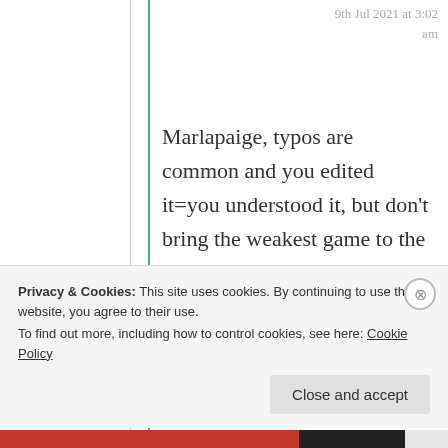9th Jul 2021 at 3:02 am
Marlapaige, typos are common and you edited it=you understood it, but don't bring the weakest game to the strongest man=we both know what you are and not!
★ Liked by 1 person
Privacy & Cookies: This site uses cookies. By continuing to use this website, you agree to their use.
To find out more, including how to control cookies, see here: Cookie Policy
Close and accept